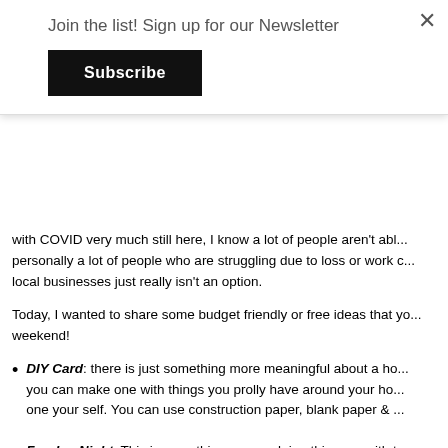Join the list! Sign up for our Newsletter
Subscribe
with COVID very much still here, I know a lot of people aren't able... personally a lot of people who are struggling due to loss or work c... local businesses just really isn't an option.
Today, I wanted to share some budget friendly or free ideas that yo... weekend!
DIY Card: there is just something more meaningful about a ho... you can make one with things you prolly have around your ho... one your self. You can use construction paper, blank paper & ...
Fondue Night: This is something we are doing this year with t... Kiss fondue pot from when I was a kid that I snagged from my... things into the fondue, so we are going to start with a cheese... sweet treat with chocolate fondue! Some ideas to add with th...
Cheese Fondue - Crackers, Carrots, Celery, Broccoli, Cauli...